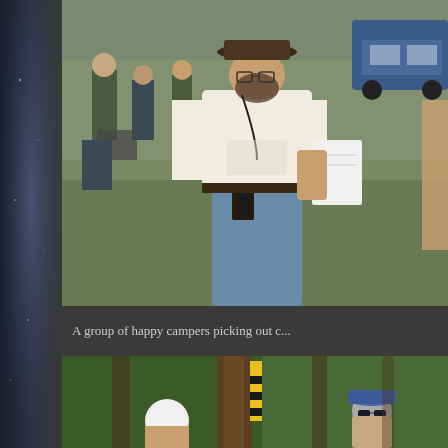[Figure (photo): Outdoor shooting event with group of people. Main figure is a man in a white t-shirt with a holstered gun at his hip, reading papers. Other people visible in background near trees and a blue truck.]
A group of happy campers picking out c...
[Figure (photo): Two people in a wooded forest setting with trees. One person wearing a white helmet and another wearing a blue cap with sunglasses. A yellow and black streamer or flag is visible tied to a tree.]